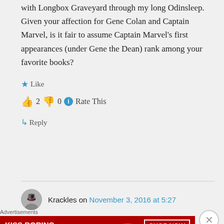with Longbox Graveyard through my long Odinsleep. Given your affection for Gene Colan and Captain Marvel, is it fair to assume Captain Marvel's first appearances (under Gene the Dean) rank among your favorite books?
★ Like
👍 2 👎 0 ℹ Rate This
↳ Reply
Krackles on November 3, 2016 at 5:27
Advertisements
[Figure (other): Macy's advertisement banner: KISS BORING LIPS GOODBYE with SHOP NOW button and Macy's logo]